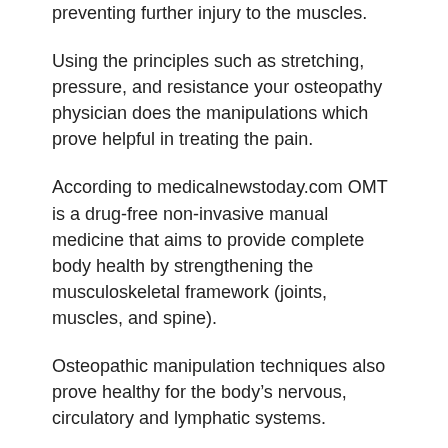preventing further injury to the muscles.
Using the principles such as stretching, pressure, and resistance your osteopathy physician does the manipulations which prove helpful in treating the pain.
According to medicalnewstoday.com OMT is a drug-free non-invasive manual medicine that aims to provide complete body health by strengthening the musculoskeletal framework (joints, muscles, and spine).
Osteopathic manipulation techniques also prove healthy for the body’s nervous, circulatory and lymphatic systems.
When to See a Chiropractor for Neck Pain?